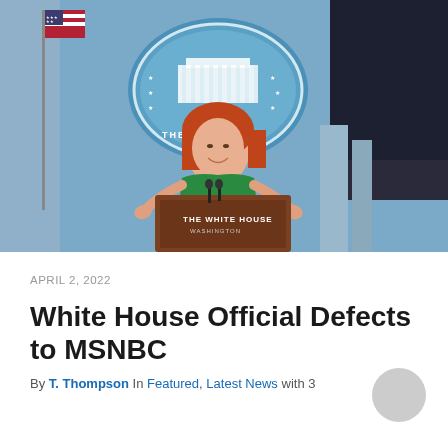[Figure (photo): Woman with red hair in a green top speaking at the White House podium labeled 'THE WHITE HOUSE WASHINGTON', with the White House seal visible in the background and a US flag to the left.]
APRIL 2, 2022
White House Official Defects to MSNBC
By T. Thompson In Featured, Latest News with 3